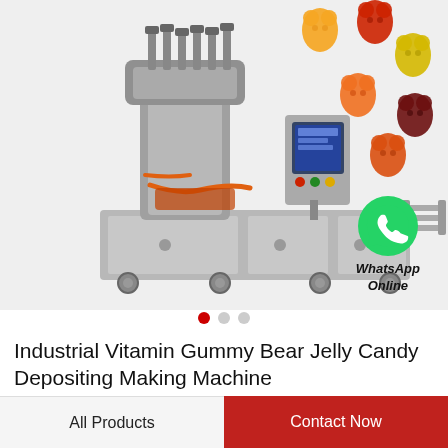[Figure (photo): Industrial stainless steel gummy bear candy depositing making machine with touchscreen control panel, orange piping, and wheels. Colorful gummy bears (red, orange, yellow, dark red) floating in upper right corner.]
[Figure (illustration): Green WhatsApp logo circle with phone icon, labeled 'WhatsApp Online' in bold italic text below.]
Industrial Vitamin Gummy Bear Jelly Candy Depositing Making Machine
All Products
Contact Now